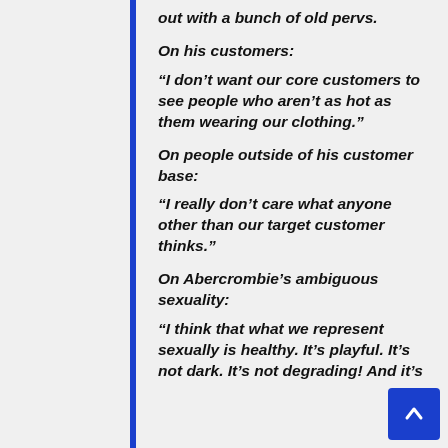out with a bunch of old pervs.
On his customers:
“I don’t want our core customers to see people who aren’t as hot as them wearing our clothing.”
On people outside of his customer base:
“I really don’t care what anyone other than our target customer thinks.”
On Abercrombie’s ambiguous sexuality:
“I think that what we represent sexually is healthy. It’s playful. It’s not dark. It’s not degrading! And it’s not pornographic, it’s straight and...